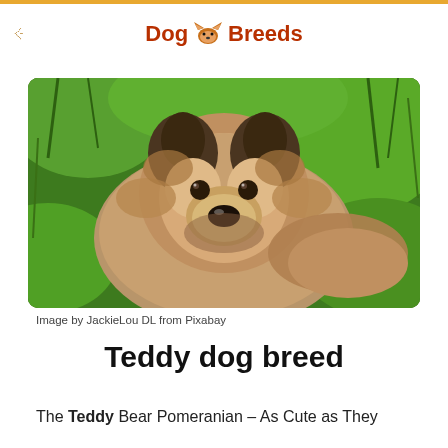Dog Breeds
[Figure (photo): A fluffy Teddy Bear Pomeranian dog lying in green grass, photographed close-up showing its bear-like face and thick fur coat.]
Image by JackieLou DL from Pixabay
Teddy dog breed
The Teddy Bear Pomeranian – As Cute as They